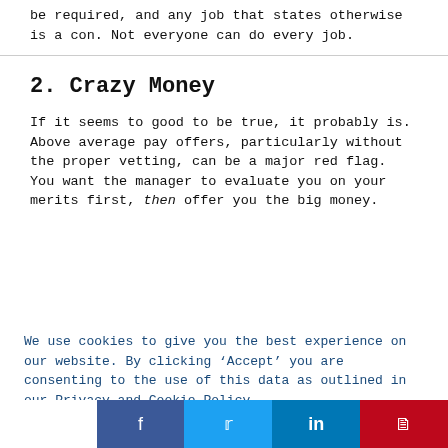be required, and any job that states otherwise is a con. Not everyone can do every job.
2. Crazy Money
If it seems to good to be true, it probably is. Above average pay offers, particularly without the proper vetting, can be a major red flag. You want the manager to evaluate you on your merits first, then offer you the big money.
We use cookies to give you the best experience on our website. By clicking ‘Accept’ you are consenting to the use of this data as outlined in our Privacy and Cookie Policy.
Accept